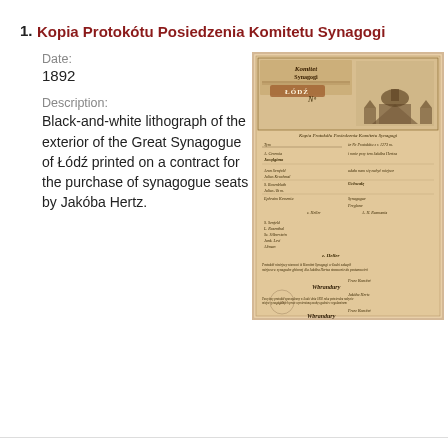1. Kopia Protokótu Posiedzenia Komitetu Synagogi
Date:
1892
Description:
Black-and-white lithograph of the exterior of the Great Synagogue of Łódź printed on a contract for the purchase of synagogue seats by Jakóba Hertz.
[Figure (photo): Scanned historical document with letterhead showing a lithograph of the Great Synagogue of Łódź and handwritten Polish text, dated 1892, related to a contract for purchase of synagogue seats by Jakóba Hertz.]